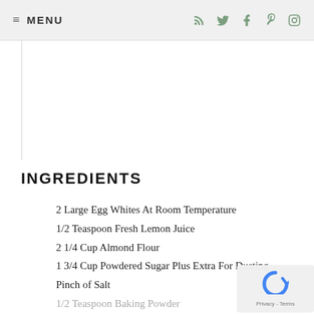≡ MENU
INGREDIENTS
2 Large Egg Whites At Room Temperature
1/2 Teaspoon Fresh Lemon Juice
2 1/4 Cup Almond Flour
1 3/4 Cup Powdered Sugar Plus Extra For Dusting
Pinch of Salt
1/2 Teaspoon Baking Powder
1 Teaspoon Almond Extract